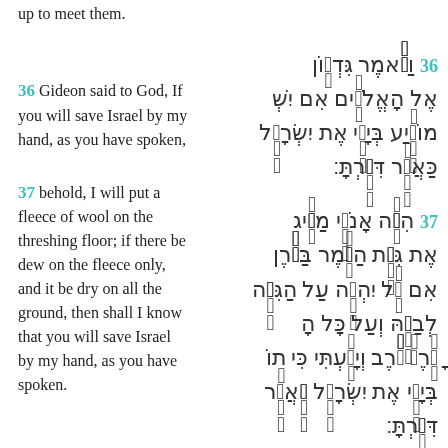up to meet them.
36 Gideon said to God, If you will save Israel by my hand, as you have spoken,
37 behold, I will put a fleece of wool on the threshing floor; if there be dew on the fleece only, and it be dry on all the ground, then shall I know that you will save Israel by my hand, as you have spoken.
36 וַיֹּאמֶר גִּדְעֹון אֶל הָאֱלֹהִים אִם יְשִׁיַּעְ בְּיָדִי אֶת יִשְׂרָאֵל כַּאֲשֶׁר דִּבַּרְתָּ:
37 הִנֵּה אָנֹכִי מַצִּיג אֶת גִּזַּת הַצֶּמֶר בַּגֹּרֶן אִם טַל יִהְיֶה עַל הַגִּזָּה לְבַדָּהּ וְעַל כָּל הָאָרֶץ חֹרֶב וְיָדַעְתִּי כִּי תוֹשִׁיַּע בְּיָדִי אֶת יִשְׂרָאֵל כַּאֲשֶׁר דִּבַּרְתָּ: